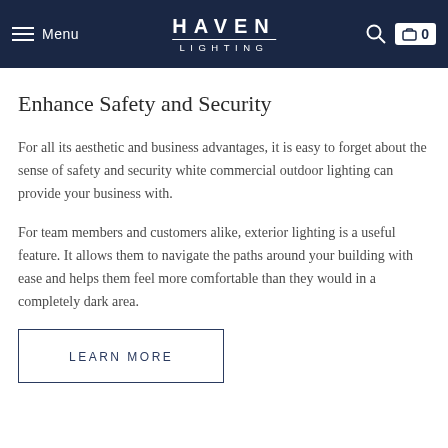Menu | HAVEN LIGHTING | 🔍 | 🛒 0
Enhance Safety and Security
For all its aesthetic and business advantages, it is easy to forget about the sense of safety and security white commercial outdoor lighting can provide your business with.
For team members and customers alike, exterior lighting is a useful feature. It allows them to navigate the paths around your building with ease and helps them feel more comfortable than they would in a completely dark area.
LEARN MORE